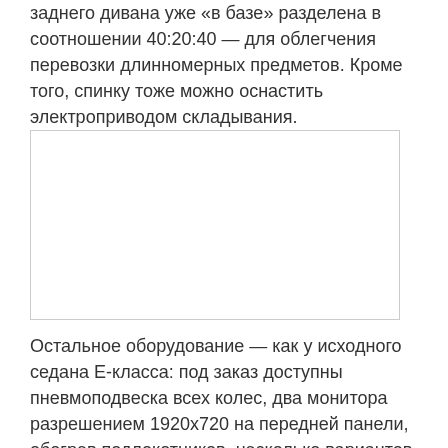заднего дивана уже «в базе» разделена в соотношении 40:20:40 — для облегчения перевозки длинномерных предметов. Кроме того, спинку тоже можно оснастить электроприводом складывания.
[Figure (photo): Photograph placeholder (white rectangle with light gray border)]
Остальное оборудование — как у исходного седана Е-класса: под заказ доступны пневмоподвеска всех колес, два монитора разрешением 1920x720 на передней панели, обогрев подлокотников, несколько вариантов комфортных сидений, автопарковщик с дистанционным управлением и, конечно же, полуавтономный комплекс Drive Pilot, умеющий без помощи водителя поддерживать темп, дистанцию и занимаемый ряд при скорости до 210 км/ч (даже на извилистых дорогах).